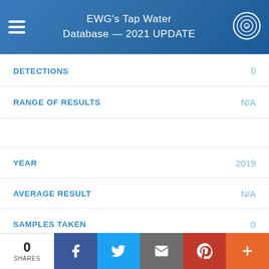EWG's Tap Water Database — 2021 UPDATE
| Field | Value |
| --- | --- |
| DETECTIONS | 0 |
| RANGE OF RESULTS | N/A |
| YEAR | 2019 |
| AVERAGE RESULT | N/A |
| SAMPLES TAKEN | 0 |
| DETECTIONS | 0 |
| RANGE OF RESULTS | N/A |
0 SHARES | Facebook | Twitter | Email | Pinterest | More